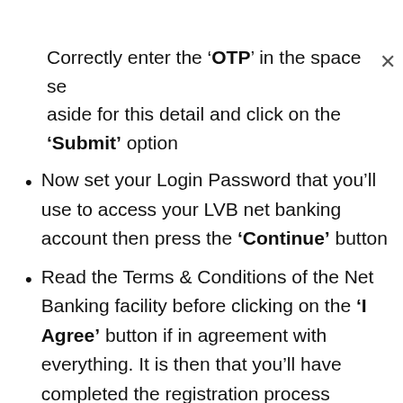Correctly enter the 'OTP' in the space set aside for this detail and click on the 'Submit' option
Now set your Login Password that you'll use to access your LVB net banking account then press the 'Continue' button
Read the Terms & Conditions of the Net Banking facility before clicking on the 'I Agree' button if in agreement with everything. It is then that you'll have completed the registration process